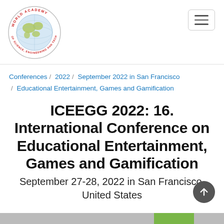[Figure (logo): World Academy of Science, Engineering and Technology circular logo with globe in center and text around the border]
Conferences / 2022 / September 2022 in San Francisco / Educational Entertainment, Games and Gamification
ICEEGG 2022: 16. International Conference on Educational Entertainment, Games and Gamification
September 27-28, 2022 in San Francisco, United States